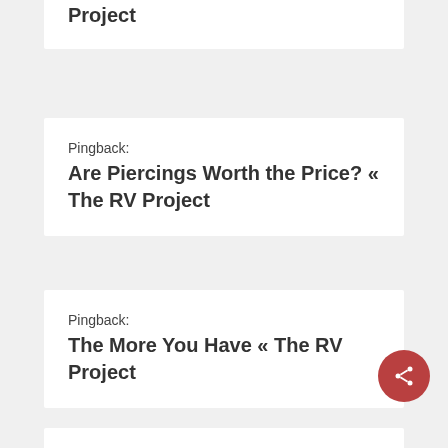Project
Pingback: Are Piercings Worth the Price? « The RV Project
Pingback: The More You Have « The RV Project